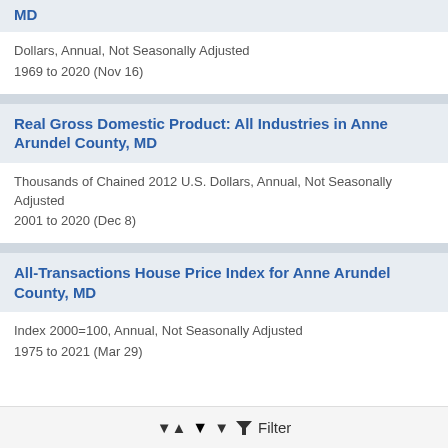MD
Dollars, Annual, Not Seasonally Adjusted
1969 to 2020 (Nov 16)
Real Gross Domestic Product: All Industries in Anne Arundel County, MD
Thousands of Chained 2012 U.S. Dollars, Annual, Not Seasonally Adjusted
2001 to 2020 (Dec 8)
All-Transactions House Price Index for Anne Arundel County, MD
Index 2000=100, Annual, Not Seasonally Adjusted
1975 to 2021 (Mar 29)
Filter